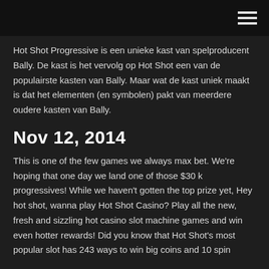Hot Shot Progressive is een unieke kast van spelproducent Bally. De kast is het vervolg op Hot Shot een van de populairste kasten van Bally. Maar wat de kast uniek maakt is dat het elementen (en symbolen) pakt van meerdere oudere kasten van Bally.
Nov 12, 2014
This is one of the few games we always max bet. We're hoping that one day we land one of those $30 k progressives! While we haven't gotten the top prize yet, Hey hot shot, wanna play Hot Shot Casino? Play all the new, fresh and sizzling hot casino slot machine games and win even hotter rewards! Did you know that Hot Shot's most popular slot has 243 ways to win big coins and 10 spin